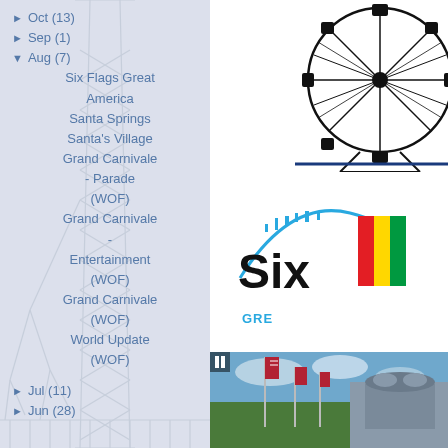► Oct (13)
► Sep (1)
▼ Aug (7)
Six Flags Great America
Santa Springs
Santa's Village
Grand Carnivale - Parade (WOF)
Grand Carnivale - Entertainment (WOF)
Grand Carnivale (WOF)
World Update (WOF)
► Jul (11)
► Jun (28)
[Figure (photo): Ferris wheel silhouette against white background, black and white image]
[Figure (logo): Six Flags Great America logo with blue roller coaster arch and colorful flag graphic]
[Figure (photo): Theme park entrance with flags and decorative building facade under blue sky]